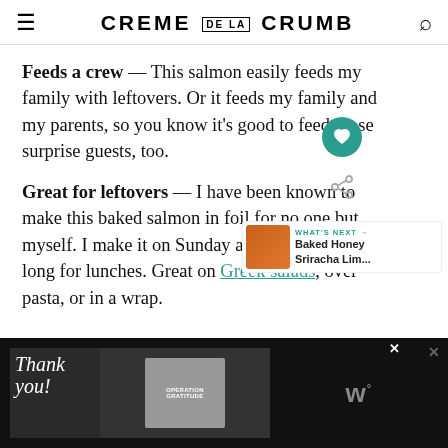CREME DE LA CRUMB
Feeds a crew — This salmon easily feeds my family with leftovers. Or it feeds my family and my parents, so you know it's good to feed those surprise guests, too.
Great for leftovers — I have been known to make this baked salmon in foil for no one but myself. I make it on Sunday and eat it all week long for lunches. Great on Greek salads, over pasta, or in a wrap.
[Figure (screenshot): Website UI elements: heart/save icon (teal circle), share icon, and 'What's Next' widget showing 'Baked Honey Sriracha Lim...' with food thumbnail]
[Figure (photo): Advertisement banner: 'Thank you' with Operation Gratitude branding showing firefighters photo]